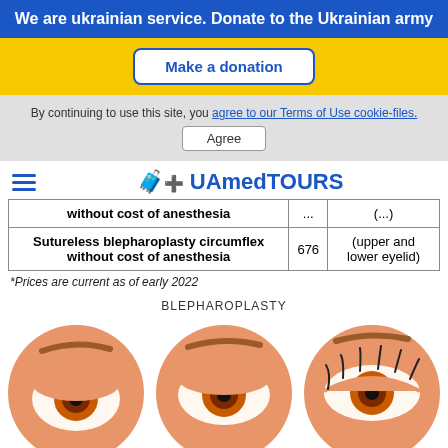We are ukrainian service. Donate to the Ukrainian army
Make a donation
By continuing to use this site, you agree to our Terms of Use cookie-files. Agree
UAmedTOURS
|  |  |  |
| --- | --- | --- |
| without cost of anesthesia | ... | (...) |
| Sutureless blepharoplasty circumflex without cost of anesthesia | 676 | (upper and lower eyelid) |
*Prices are current as of early 2022
BLEPHAROPLASTY
[Figure (illustration): Three circular illustrations showing eyes before and after blepharoplasty procedure]